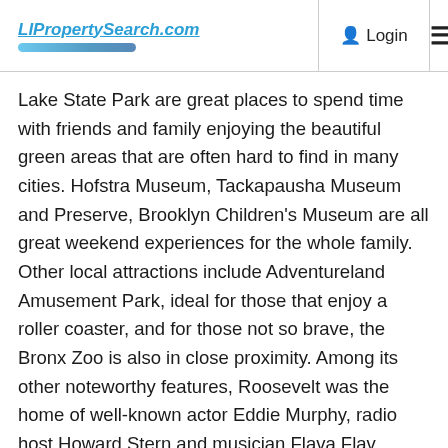LIPropertySearch.com | Login | ☰
Lake State Park are great places to spend time with friends and family enjoying the beautiful green areas that are often hard to find in many cities. Hofstra Museum, Tackapausha Museum and Preserve, Brooklyn Children's Museum are all great weekend experiences for the whole family. Other local attractions include Adventureland Amusement Park, ideal for those that enjoy a roller coaster, and for those not so brave, the Bronx Zoo is also in close proximity. Among its other noteworthy features, Roosevelt was the home of well-known actor Eddie Murphy, radio host Howard Stern and musician Flava Flav.
In addition to all of those wonderful things, Roosevelt is very welcoming and has beautiful neighborhoods full of